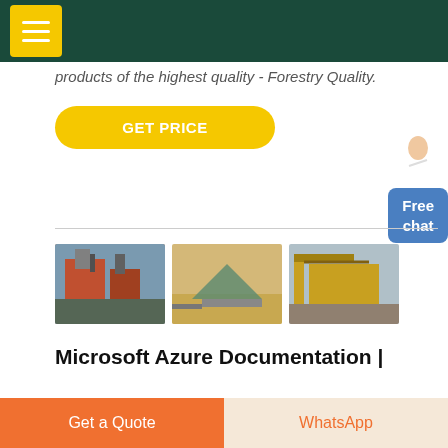Navigation header with menu button
products of the highest quality - Forestry Quality.
GET PRICE
[Figure (photo): Industrial mining/crushing equipment facility with red machinery]
[Figure (photo): Mining equipment and machinery in desert/sandy terrain]
[Figure (photo): Yellow mining conveyor structure and equipment]
Microsoft Azure Documentation |
Get a Quote
WhatsApp